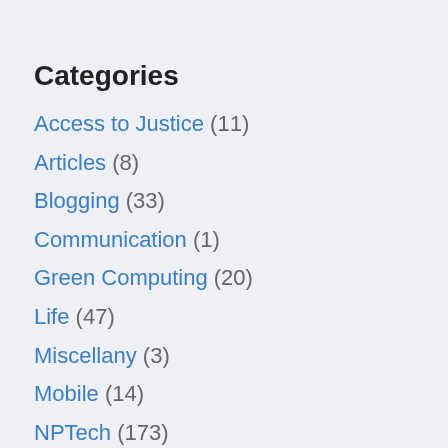Categories
Access to Justice (11)
Articles (8)
Blogging (33)
Communication (1)
Green Computing (20)
Life (47)
Miscellany (3)
Mobile (14)
NPTech (173)
Politics (16)
Recommended Posts (46)